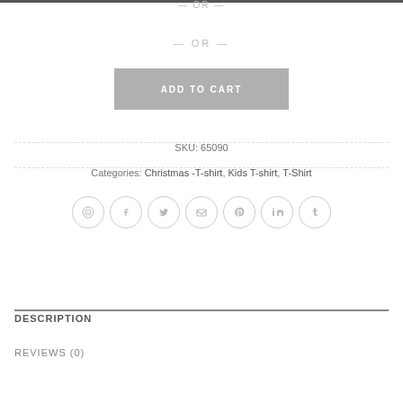— OR —
— OR —
ADD TO CART
SKU: 65090
Categories: Christmas -T-shirt, Kids T-shirt, T-Shirt
[Figure (other): Social sharing icons: WhatsApp, Facebook, Twitter, Email, Pinterest, LinkedIn, Tumblr]
DESCRIPTION
REVIEWS (0)